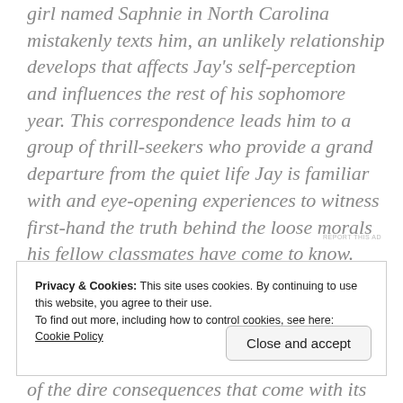girl named Saphnie in North Carolina mistakenly texts him, an unlikely relationship develops that affects Jay's self-perception and influences the rest of his sophomore year. This correspondence leads him to a group of thrill-seekers who provide a grand departure from the quiet life Jay is familiar with and eye-opening experiences to witness first-hand the truth behind the loose morals his fellow classmates have come to know.
REPORT THIS AD
Privacy & Cookies: This site uses cookies. By continuing to use this website, you agree to their use.
To find out more, including how to control cookies, see here: Cookie Policy
Close and accept
of the dire consequences that come with its